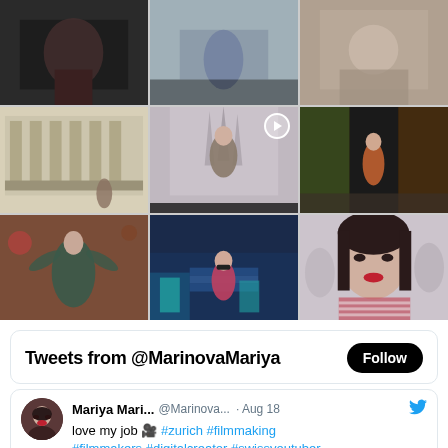[Figure (photo): 3x3 Instagram-style photo grid showing travel and portrait photos of Mariya Marinova. Top row: dark indoor photo, city/street scene, food/dining scene. Middle row: classical architecture with columns, woman in floral dress at cathedral, woman in pink top in colorful alley. Bottom row: woman in floral dress outdoors, woman in pink top in blue stairway alley, close-up portrait with red lipstick.]
[Figure (screenshot): Twitter widget showing 'Tweets from @MarinovaMariya' with Follow button, and a tweet by Mariya Mari... @Marinova... dated Aug 18 saying 'love my job 🎥 #zurich #filmmaking #filmmakers #digitalcreator #swissyoutuber #videocreator #videomakker @Switz...']